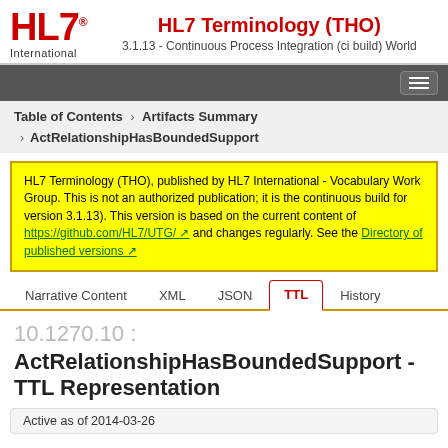HL7 Terminology (THO) - 3.1.13 - Continuous Process Integration (ci build) World
HL7 Terminology (THO), published by HL7 International - Vocabulary Work Group. This is not an authorized publication; it is the continuous build for version 3.1.13). This version is based on the current content of https://github.com/HL7/UTG/ and changes regularly. See the Directory of published versions
Narrative Content  XML  JSON  TTL  History
10.1270.10 : ActRelationshipHasBoundedSupport - TTL Representation
Active as of 2014-03-26